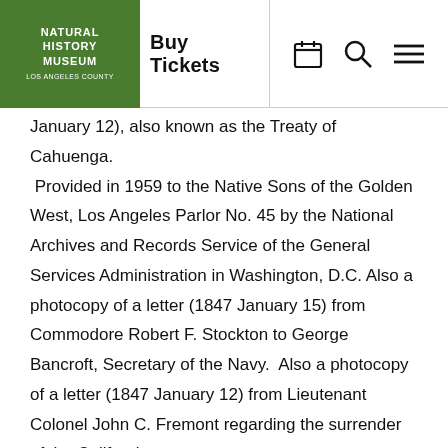NATURAL HISTORY MUSEUM LOS ANGELES COUNTY | Buy Tickets
January 12), also known as the Treaty of Cahuenga.  Provided in 1959 to the Native Sons of the Golden West, Los Angeles Parlor No. 45 by the National Archives and Records Service of the General Services Administration in Washington, D.C. Also a photocopy of a letter (1847 January 15) from Commodore Robert F. Stockton to George Bancroft, Secretary of the Navy.  Also a photocopy of a letter (1847 January 12) from Lieutenant Colonel John C. Fremont regarding the surrender of the Californians.  Collection includes typed transcriptions and correspondence between the Native Sons of the Golden West and various government officials.  1847-1959
GC 1367 Los Angeles History Scrapbooks